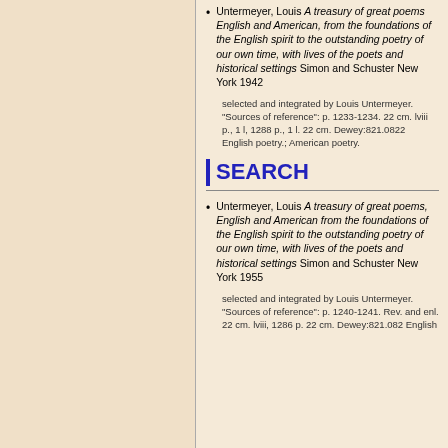Untermeyer, Louis A treasury of great poems English and American, from the foundations of the English spirit to the outstanding poetry of our own time, with lives of the poets and historical settings Simon and Schuster New York 1942
selected and integrated by Louis Untermeyer. "Sources of reference": p. 1233-1234. 22 cm. lviii p., 1 l, 1288 p., 1 l. 22 cm. Dewey:821.0822 English poetry.; American poetry.
SEARCH
Untermeyer, Louis A treasury of great poems, English and American from the foundations of the English spirit to the outstanding poetry of our own time, with lives of the poets and historical settings Simon and Schuster New York 1955
selected and integrated by Louis Untermeyer. "Sources of reference": p. 1240-1241. Rev. and enl. 22 cm. lviii, 1286 p. 22 cm. Dewey:821.082 English